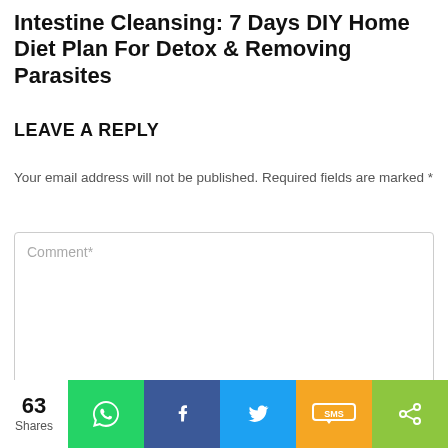Intestine Cleansing: 7 Days DIY Home Diet Plan For Detox & Removing Parasites
LEAVE A REPLY
Your email address will not be published. Required fields are marked *
Comment*
[Figure (other): Social share bar with 63 Shares count, WhatsApp (green), Facebook (dark blue), Twitter (light blue), SMS (orange/yellow), and share (light green) buttons]